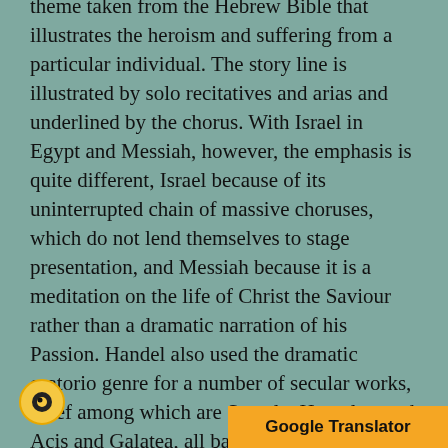theme taken from the Hebrew Bible that illustrates the heroism and suffering from a particular individual. The story line is illustrated by solo recitatives and arias and underlined by the chorus. With Israel in Egypt and Messiah, however, the emphasis is quite different, Israel because of its uninterrupted chain of massive choruses, which do not lend themselves to stage presentation, and Messiah because it is a meditation on the life of Christ the Saviour rather than a dramatic narration of his Passion. Handel also used the dramatic oratorio genre for a number of secular works, chief among which are Semele, Hercules, and Acis and Galatea, all based on stories from Greek mythology.

Handel's most notable contribution to church music is his series of large-sca...